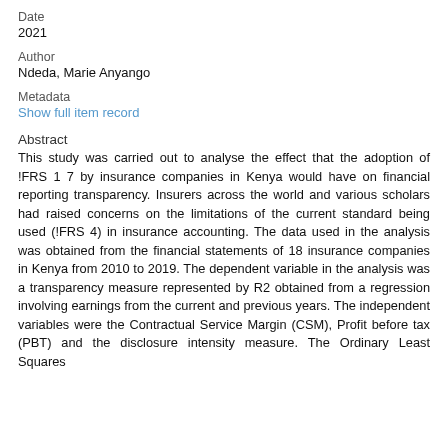Date
2021
Author
Ndeda, Marie Anyango
Metadata
Show full item record
Abstract
This study was carried out to analyse the effect that the adoption of !FRS 1 7 by insurance companies in Kenya would have on financial reporting transparency. Insurers across the world and various scholars had raised concerns on the limitations of the current standard being used (!FRS 4) in insurance accounting. The data used in the analysis was obtained from the financial statements of 18 insurance companies in Kenya from 2010 to 2019. The dependent variable in the analysis was a transparency measure represented by R2 obtained from a regression involving earnings from the current and previous years. The independent variables were the Contractual Service Margin (CSM), Profit before tax (PBT) and the disclosure intensity measure. The Ordinary Least Squares